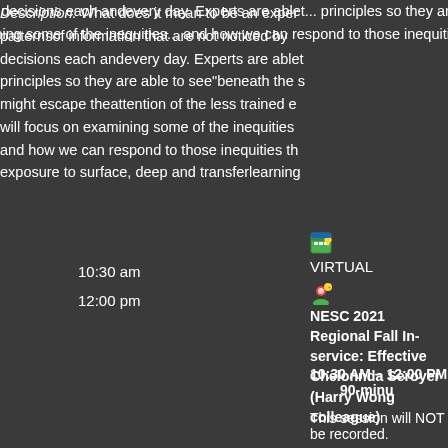Description: What does it mean to be an expert... patternsof information that are not noticed by... decisions each andevery day. Experts are ablet... principles so they are able to see"beneath the s... might escape theattention of the less trained e... will focus on examining some of the inequities... and how we can respond to those inequities th... exposure to surface, deep and transferlearning...
[Figure (logo): Calendar/map pin icon]
VIRTUAL
[Figure (logo): Google Maps person icon]
10:30 am
12:00 pm
NESC 2021 Regional Fall In-service: Effective... Chelonnda Seroyer (Harry Wong colleague)
10:30 AM – 12:00 PM	90-minu
This session will NOT be recorded.